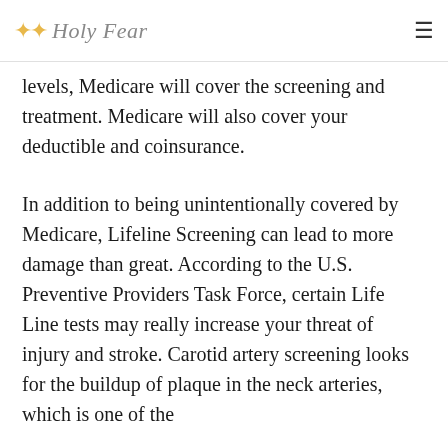Holy Fear
levels, Medicare will cover the screening and treatment. Medicare will also cover your deductible and coinsurance.
In addition to being unintentionally covered by Medicare, Lifeline Screening can lead to more damage than great. According to the U.S. Preventive Providers Task Force, certain Life Line tests may really increase your threat of injury and stroke. Carotid artery screening looks for the buildup of plaque in the neck arteries, which is one of the